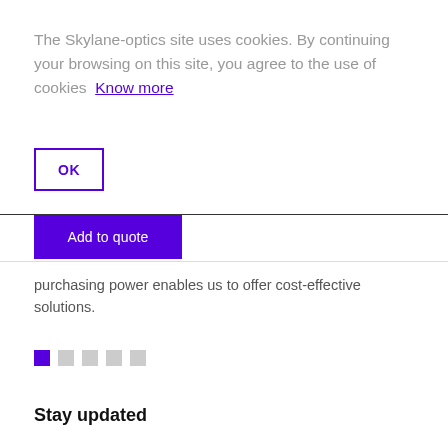The Skylane-optics site uses cookies. By continuing your browsing on this site, you agree to the use of cookies  Know more
OK
Add to quote
purchasing power enables us to offer cost-effective solutions.
Stay updated